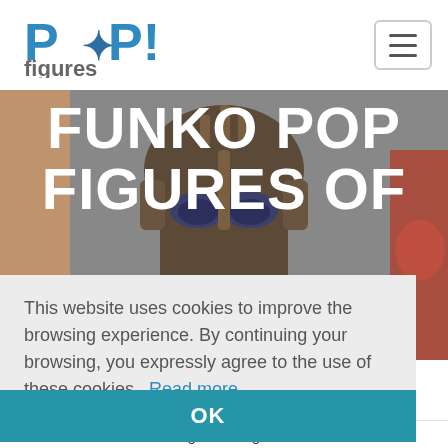[Figure (logo): POP! figures logo: blue bold POP! text with an asterisk/star character, grey 'figures' text below]
[Figure (illustration): Hero banner with Funko Pop figures (left, center Thanos-like figure, right Iron Man-like) on grey background]
FUNKO POP FIGURES OF
This website uses cookies to improve the browsing experience. By continuing your browsing, you expressly agree to the use of these cookies.  Read more
OK
Home / Franchises / Avengers: Endgame